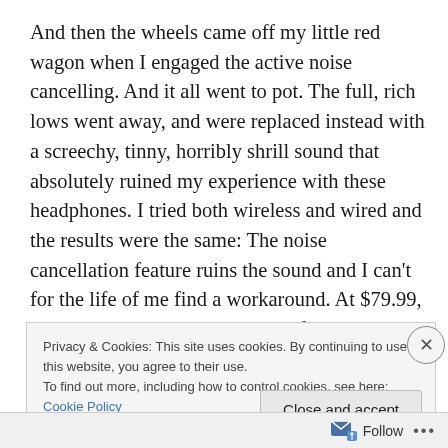And then the wheels came off my little red wagon when I engaged the active noise cancelling. And it all went to pot. The full, rich lows went away, and were replaced instead with a screechy, tinny, horribly shrill sound that absolutely ruined my experience with these headphones. I tried both wireless and wired and the results were the same: The noise cancellation feature ruins the sound and I can't for the life of me find a workaround. At $79.99, these should not have this kind of issue. Emails to the company through Amazon have yet to answered, but if not for the fact that I
Privacy & Cookies: This site uses cookies. By continuing to use this website, you agree to their use.
To find out more, including how to control cookies, see here: Cookie Policy
Close and accept
Follow ···